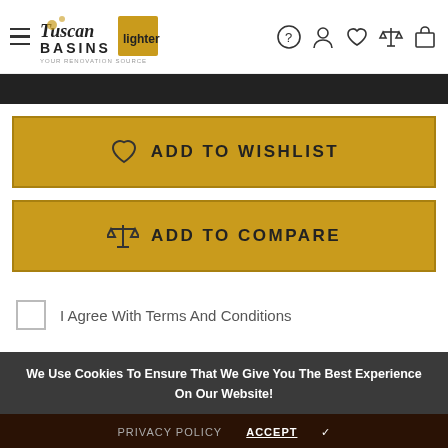Tuscan Basins - Your Renovation Source | Navigation bar with logo, hamburger menu, help, account, wishlist, compare, cart icons
[Figure (screenshot): Black horizontal bar below the header navigation]
❤ ADD TO WISHLIST
⚖ ADD TO COMPARE
I Agree With Terms And Conditions
We Use Cookies To Ensure That We Give You The Best Experience On Our Website!
PRIVACY POLICY   ACCEPT ✓